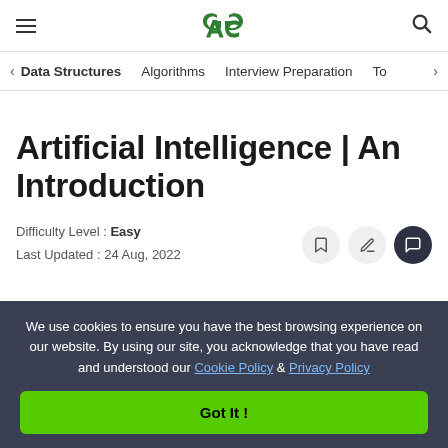GeeksforGeeks header with hamburger menu, GG logo, and search icon
< Data Structures   Algorithms   Interview Preparation   To>
Artificial Intelligence | An Introduction
Difficulty Level : Easy
Last Updated : 24 Aug, 2022
We use cookies to ensure you have the best browsing experience on our website. By using our site, you acknowledge that you have read and understood our Cookie Policy & Privacy Policy
Got It !